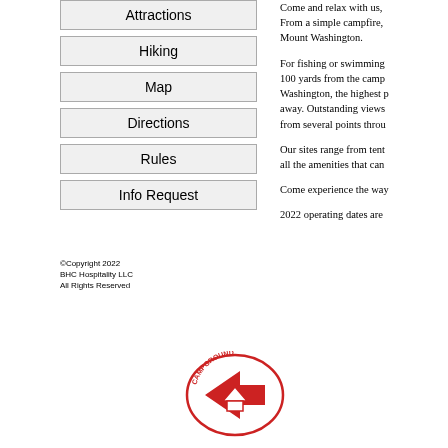Attractions
Hiking
Map
Directions
Rules
Info Request
Come and relax with us, From a simple campfire, Mount Washington.
For fishing or swimming 100 yards from the camp Washington, the highest p away. Outstanding views from several points throu
Our sites range from tent all the amenities that can
Come experience the way
2022 operating dates are
©Copyright 2022
BHC Hospitality LLC
All Rights Reserved
[Figure (logo): Campground logo/badge in red with arrow design]